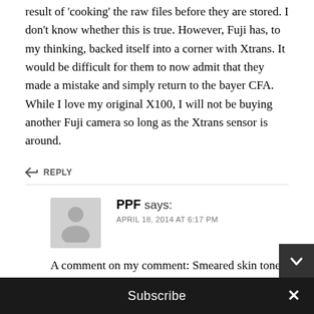result of 'cooking' the raw files before they are stored. I don't know whether this is true. However, Fuji has, to my thinking, backed itself into a corner with Xtrans. It would be difficult for them to now admit that they made a mistake and simply return to the bayer CFA. While I love my original X100, I will not be buying another Fuji camera so long as the Xtrans sensor is around.
↩ REPLY
[Figure (illustration): Generic user avatar icon — grey silhouette of a person on grey background]
PPF says:
APRIL 18, 2014 AT 6:17 PM
A comment on my comment: Smeared skin tones
Subscribe
×